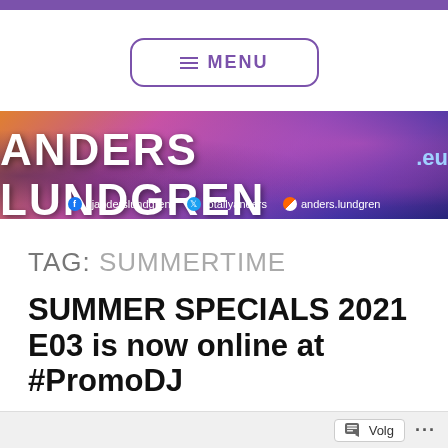[Figure (screenshot): Menu button with hamburger icon and text MENU, purple border and text on white background]
[Figure (photo): Anders Lundgren .eu website banner with purple/pink/orange sunset background, flowers, and social media handles: djanderslundgren (Facebook), totallyanders (Twitter), anders.lundgren (Mixcloud)]
TAG: SUMMERTIME
SUMMER SPECIALS 2021 E03 is now online at #PromoDJ
Volg